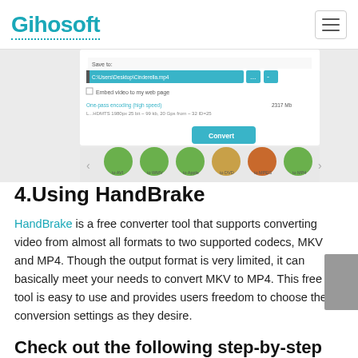Gihosoft
[Figure (screenshot): Screenshot of a video converter software interface showing a Save To field with path C:\Users\Desktop\Cinderella.mp4, a Convert button, and format icons at the bottom (to AVI, to WMV, to Apple, to DVD, to MPEG, to MP4, to MP3)]
4.Using HandBrake
HandBrake is a free converter tool that supports converting video from almost all formats to two supported codecs, MKV and MP4. Though the output format is very limited, it can basically meet your needs to convert MKV to MP4. This free tool is easy to use and provides users freedom to choose the conversion settings as they desire.
Check out the following step-by-step guide to convert MKV to MP4 in HandBrake: